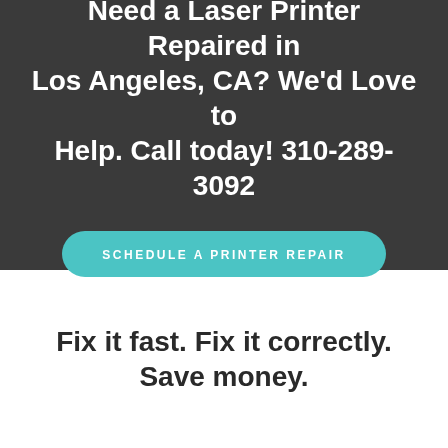Need a Laser Printer Repaired in Los Angeles, CA? We'd Love to Help. Call today! 310-289-3092
SCHEDULE A PRINTER REPAIR
Fix it fast. Fix it correctly. Save money.